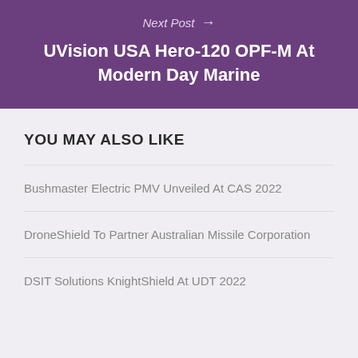Next Post →
UVision USA Hero-120 OPF-M At Modern Day Marine
YOU MAY ALSO LIKE
Bushmaster Electric PMV Unveiled At CAS 2022
DroneShield To Partner Australian Missile Corporation
DSIT Solutions KnightShield At UDT 2022